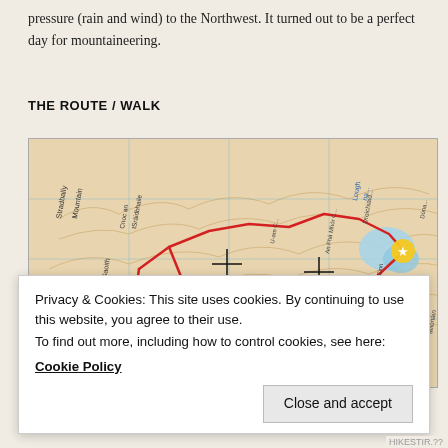pressure (rain and wind) to the Northwest. It turned out to be a perfect day for mountaineering.
THE ROUTE / WALK
[Figure (map): Topographic map showing a mountaineering route marked with a red line and a green line, crossing terrain including Stradbally Mountain, Cnoc an tSráidbhaile, Beenoskee, and other named peaks in Ireland. A yellow star marks a point near a lake to the right. A north arrow is visible at the bottom center.]
Privacy & Cookies: This site uses cookies. By continuing to use this website, you agree to their use.
To find out more, including how to control cookies, see here:
Cookie Policy
Close and accept